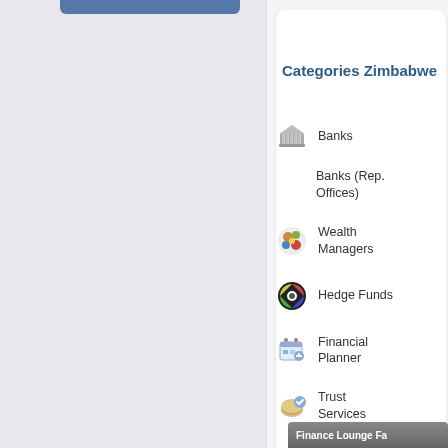Categories Zimbabwe
Banks
Banks (Rep. Offices)
Wealth Managers
Hedge Funds
Financial Planner
Trust Services
Finance Lounge Fa